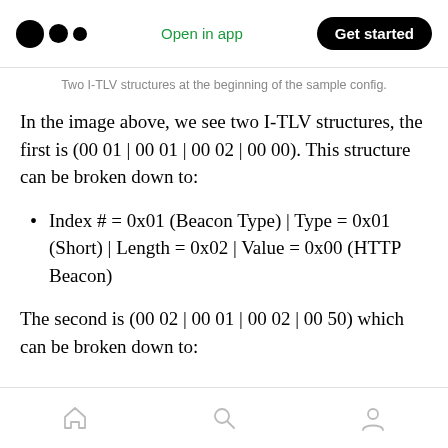Medium app header: logo | Open in app | Get started
Two I-TLV structures at the beginning of the sample config.
In the image above, we see two I-TLV structures, the first is (00 01 | 00 01 | 00 02 | 00 00). This structure can be broken down to:
Index # = 0x01 (Beacon Type) | Type = 0x01 (Short) | Length = 0x02 | Value = 0x00 (HTTP Beacon)
The second is (00 02 | 00 01 | 00 02 | 00 50) which can be broken down to:
Home | Search | Profile